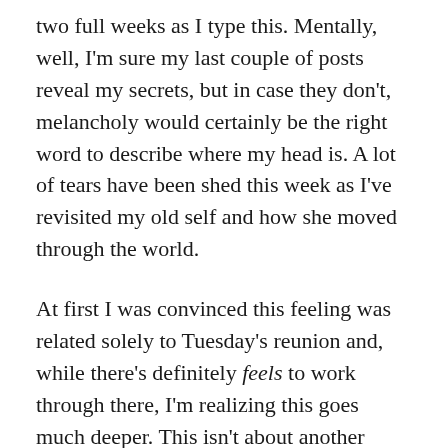two full weeks as I type this. Mentally, well, I'm sure my last couple of posts reveal my secrets, but in case they don't, melancholy would certainly be the right word to describe where my head is. A lot of tears have been shed this week as I've revisited my old self and how she moved through the world.
At first I was convinced this feeling was related solely to Tuesday's reunion and, while there's definitely feels to work through there, I'm realizing this goes much deeper. This isn't about another person, whether a friend or lover or both. This is about me; the woman I was before and the woman who I've become.
When I started dating Jory in January 2015, most of